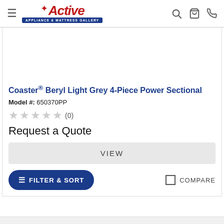Active Appliance & Mattress Gallery — navigation header with logo, search, cart, phone icons
[Figure (logo): Active Appliance & Mattress Gallery logo with red italic text and blue banner subtitle]
Coaster® Beryl Light Grey 4-Piece Power Sectional
Model #: 650370PP
★★★★★ (0)
Request a Quote
VIEW
FILTER & SORT
COMPARE